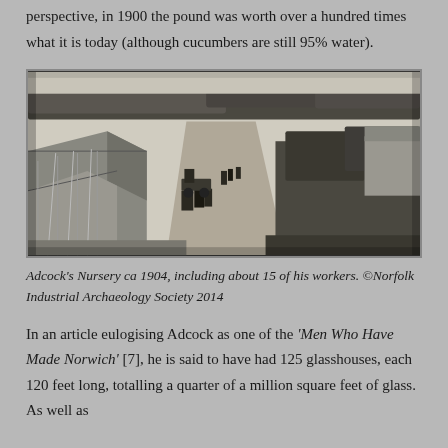perspective, in 1900 the pound was worth over a hundred times what it is today (although cucumbers are still 95% water).
[Figure (photo): Black and white aerial/elevated photograph of Adcock's Nursery circa 1904, showing greenhouse structures on the left, workers, horses and carts along a central path, and vegetation on the right.]
Adcock's Nursery ca 1904, including about 15 of his workers. ©Norfolk Industrial Archaeology Society 2014
In an article eulogising Adcock as one of the 'Men Who Have Made Norwich' [7], he is said to have had 125 glasshouses, each 120 feet long, totalling a quarter of a million square feet of glass. As well as